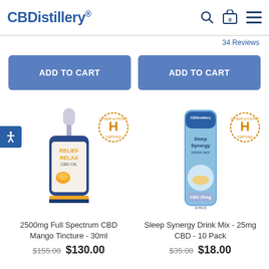[Figure (logo): CBDistillery logo in blue bold text]
34 Reviews
ADD TO CART
ADD TO CART
[Figure (photo): 2500mg Full Spectrum CBD Mango Tincture 30ml bottle with dropper and US Hemp Authority certified badge]
[Figure (photo): Sleep Synergy Drink Mix 25mg CBD 10 Pack stick packet with US Hemp Authority certified badge]
2500mg Full Spectrum CBD Mango Tincture - 30ml
Sleep Synergy Drink Mix - 25mg CBD - 10 Pack
$155.00  $130.00
$35.00  $18.00